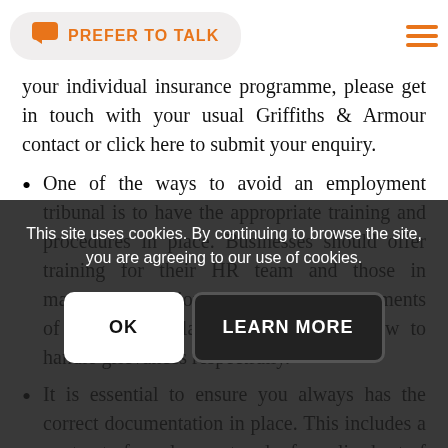PREFER TO TALK
your individual insurance programme, please get in touch with your usual Griffiths & Armour contact or click here to submit your enquiry.
One of the ways to avoid an employment tribunal is to have the appropriate training and procedures in place. Businesses should offer training for their HR team and those in managerial positions on the basic requirements of employment law and advised on how to handle grievances respectfully.
It is essential to ensure you always has the correct documentation in place. This includes a contract of employment and a formalised set of policies and procedures. Documentation is a key factor in any claim raised and having poor
This site uses cookies. By continuing to browse the site, you are agreeing to our use of cookies.